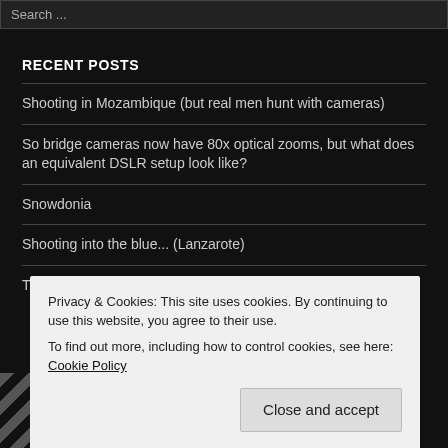Search ...
RECENT POSTS
Shooting in Mozambique (but real men hunt with cameras)
So bridge cameras now have 80x optical zooms, but what does an equivalent DSLR setup look like?
Snowdonia
Shooting into the blue... (Lanzarote)
Travel the world: Make great memories
Privacy & Cookies: This site uses cookies. By continuing to use this website, you agree to their use. To find out more, including how to control cookies, see here: Cookie Policy
Close and accept